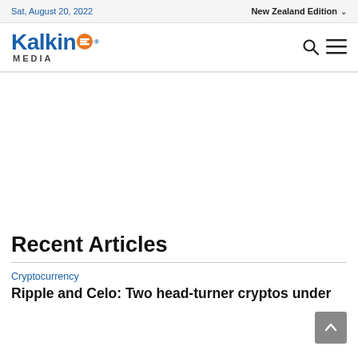Sat, August 20, 2022 | New Zealand Edition
[Figure (logo): Kalkine Media logo with blue 'Kalkine' text and orange E icon, 'MEDIA' subtitle in dark grey]
Recent Articles
Cryptocurrency
Ripple and Celo: Two head-turner cryptos under